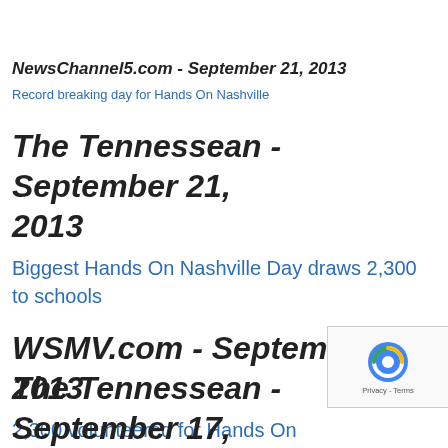NewsChannel5.com - September 21, 2013
Record breaking day for Hands On Nashville
The Tennessean - September 21, 2013
Biggest Hands On Nashville Day draws 2,300 to schools
WSMV.com - September 21, 2013
2,300 volunteered for Hands On Nashville Day
The Tennessean - September 17,